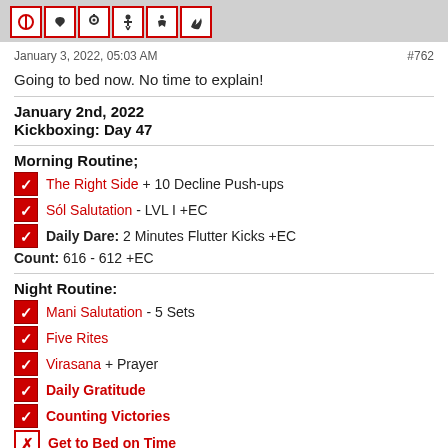Icons header bar
January 3, 2022, 05:03 AM   #762
Going to bed now. No time to explain!
January 2nd, 2022
Kickboxing: Day 47
Morning Routine;
The Right Side + 10 Decline Push-ups
Sól Salutation - LVL I +EC
Daily Dare: 2 Minutes Flutter Kicks +EC
Count: 616 - 612 +EC
Night Routine:
Mani Salutation - 5 Sets
Five Rites
Virasana + Prayer
Daily Gratitude
Counting Victories
Get to Bed on Time
101 adorations for Freya for 101 days (71/101)
42 adorations for Baldr for 42 days (2/42)
42 adorations for Nanna for 42 days (2/42)
42 adorations for Hodr for 42 days (2/42)